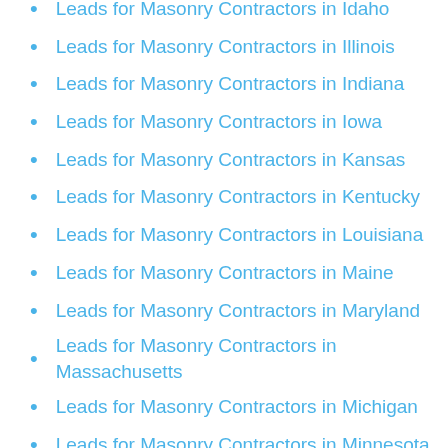Leads for Masonry Contractors in Idaho
Leads for Masonry Contractors in Illinois
Leads for Masonry Contractors in Indiana
Leads for Masonry Contractors in Iowa
Leads for Masonry Contractors in Kansas
Leads for Masonry Contractors in Kentucky
Leads for Masonry Contractors in Louisiana
Leads for Masonry Contractors in Maine
Leads for Masonry Contractors in Maryland
Leads for Masonry Contractors in Massachusetts
Leads for Masonry Contractors in Michigan
Leads for Masonry Contractors in Minnesota
Leads for Masonry Contractors in Mississippi
Leads for Masonry Contractors in Missouri
Leads for Masonry Contractors in Montana
Leads for Masonry Contractors in Nebraska
Leads for Masonry Contractors in Nevada
Leads for Masonry Contractors in New